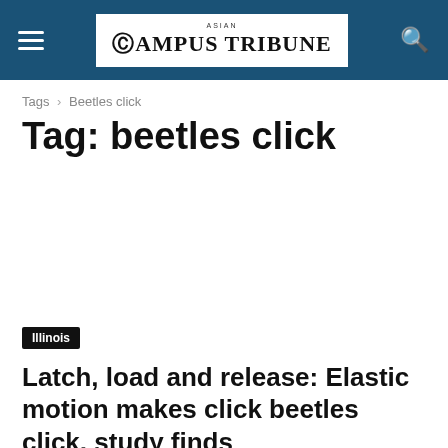ASIAN CAMPUS TRIBUNE
Tags › Beetles click
Tag: beetles click
Illinois
Latch, load and release: Elastic motion makes click beetles click, study finds